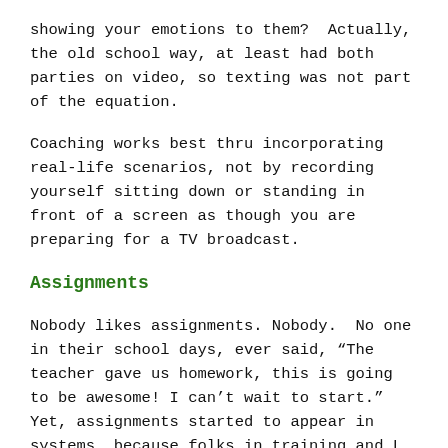showing your emotions to them?  Actually, the old school way, at least had both parties on video, so texting was not part of the equation.
Coaching works best thru incorporating real-life scenarios, not by recording yourself sitting down or standing in front of a screen as though you are preparing for a TV broadcast.
Assignments
Nobody likes assignments. Nobody.  No one in their school days, ever said, “The teacher gave us homework, this is going to be awesome! I can’t wait to start.”  Yet, assignments started to appear in systems, because folks in training and L & D who couldn’t pull away from